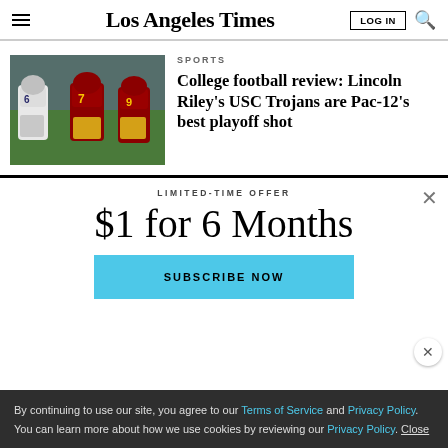Los Angeles Times
SPORTS
College football review: Lincoln Riley’s USC Trojans are Pac-12’s best playoff shot
[Figure (photo): USC Trojans football players on the field, including player #6 in white and player #7 in cardinal and gold uniform]
LIMITED-TIME OFFER
$1 for 6 Months
SUBSCRIBE NOW
By continuing to use our site, you agree to our Terms of Service and Privacy Policy. You can learn more about how we use cookies by reviewing our Privacy Policy. Close